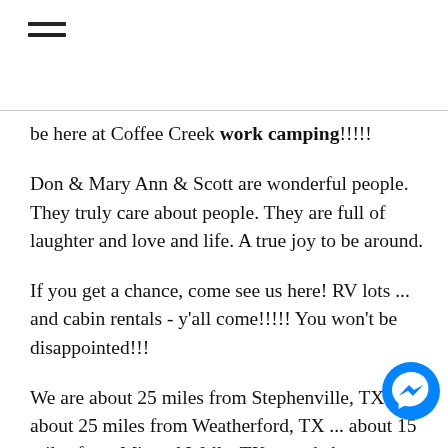[Figure (other): Hamburger menu icon (three horizontal lines)]
be here at Coffee Creek work camping!!!!!
Don & Mary Ann & Scott are wonderful people. They truly care about people. They are full of laughter and love and life. A true joy to be around.
If you get a chance, come see us here! RV lots ... and cabin rentals - y'all come!!!!! You won't be disappointed!!!
We are about 25 miles from Stephenville, TX ... about 25 miles from Weatherford, TX ... about 15 miles from Mineral Wells, TX ... and about an hour from either Ft. Worth, TX or Abilene, TX ... so, there is PLENTY of things to see and to do!!!!! Or you can enjoy a quiet walk on the nature trail, or splash in the pool. Use the
[Figure (logo): Facebook Messenger icon (blue circle with lightning bolt)]